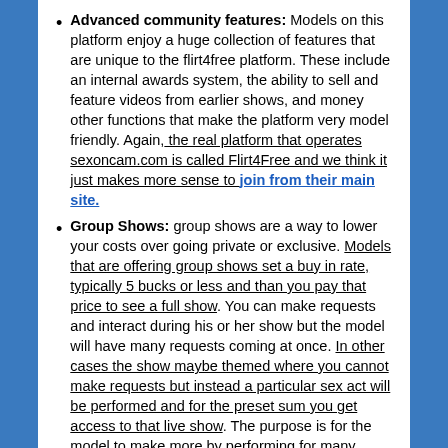Advanced community features: Models on this platform enjoy a huge collection of features that are unique to the flirt4free platform. These include an internal awards system, the ability to sell and feature videos from earlier shows, and money other functions that make the platform very model friendly. Again, the real platform that operates sexoncam.com is called Flirt4Free and we think it just makes more sense to join from their main site.
Group Shows: group shows are a way to lower your costs over going private or exclusive. Models that are offering group shows set a buy in rate, typically 5 bucks or less and than you pay that price to see a full show. You can make requests and interact during his or her show but the model will have many requests coming at once. In other cases the show maybe themed where you cannot make requests but instead a particular sex act will be performed and for the preset sum you get access to that live show. The purpose is for the model to make more by performing for many while the customer cost is lower since more customers are paying to view